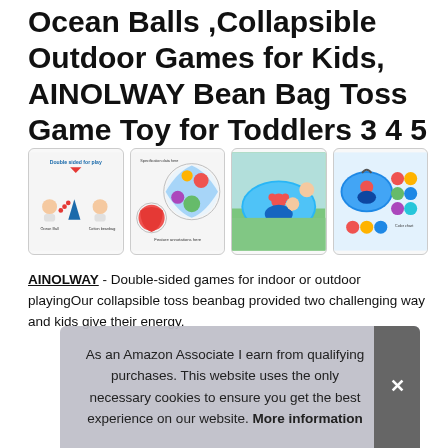Ocean Balls ,Collapsible Outdoor Games for Kids, AINOLWAY Bean Bag Toss Game Toy for Toddlers 3 4 5
[Figure (photo): Four product thumbnail images showing: 1) Double-sided play infographic with babies and cone/ocean ball, 2) Colorful ball diagram showing features, 3) Child and adult playing with pop-up tent outdoors on grass, 4) Pop-up tent with colorful ocean balls and accessories]
AINOLWAY - Double-sided games for indoor or outdoor playingOur collapsible toss beanbag provided two challenging way and kids give their energy.
As an Amazon Associate I earn from qualifying purchases. This website uses the only necessary cookies to ensure you get the best experience on our website. More information